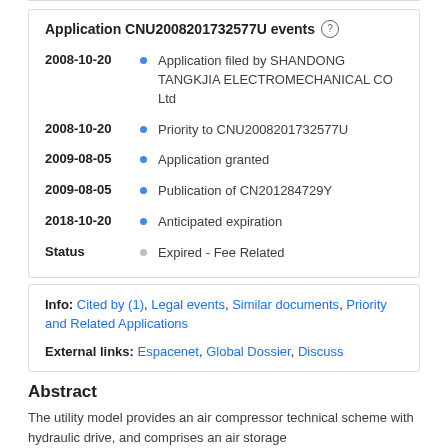Application CNU2008201732577U events
| Date/Status | Event |
| --- | --- |
| 2008-10-20 | Application filed by SHANDONG TANGKJIA ELECTROMECHANICAL CO Ltd |
| 2008-10-20 | Priority to CNU2008201732577U |
| 2009-08-05 | Application granted |
| 2009-08-05 | Publication of CN201284729Y |
| 2018-10-20 | Anticipated expiration |
| Status | Expired - Fee Related |
Info: Cited by (1), Legal events, Similar documents, Priority and Related Applications
External links: Espacenet, Global Dossier, Discuss
Abstract
The utility model provides an air compressor technical scheme with hydraulic drive, and comprises an air storage